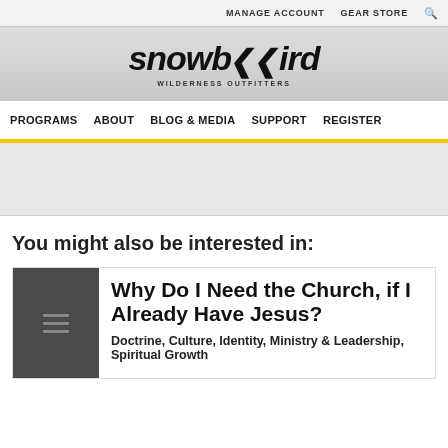MANAGE ACCOUNT   GEAR STORE
[Figure (logo): Snowbird Wilderness Outfitters logo with stylized italic text and subtitle]
PROGRAMS   ABOUT   BLOG & MEDIA   SUPPORT   REGISTER
You might also be interested in:
Why Do I Need the Church, if I Already Have Jesus?
Doctrine, Culture, Identity, Ministry & Leadership, Spiritual Growth